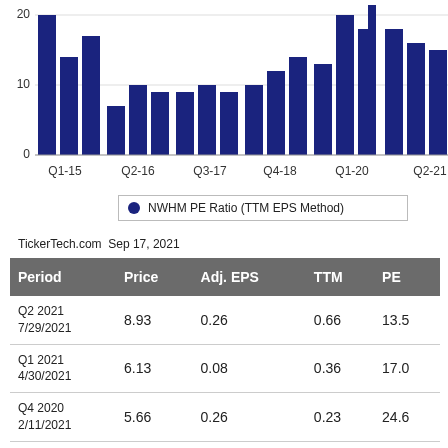[Figure (bar-chart): NWHM PE Ratio (TTM EPS Method)]
NWHM PE Ratio (TTM EPS Method)
TickerTech.com  Sep 17, 2021
| Period | Price | Adj. EPS | TTM | PE |
| --- | --- | --- | --- | --- |
| Q2 2021
7/29/2021 | 8.93 | 0.26 | 0.66 | 13.5 |
| Q1 2021
4/30/2021 | 6.13 | 0.08 | 0.36 | 17.0 |
| Q4 2020
2/11/2021 | 5.66 | 0.26 | 0.23 | 24.6 |
| Q3 2020
11/2/2020 | 5.17 | 0.06 | 0.12 | 43.1 |
| Q2 2020 | 4.00 | -0.04 | 0.07 | 57.1 |